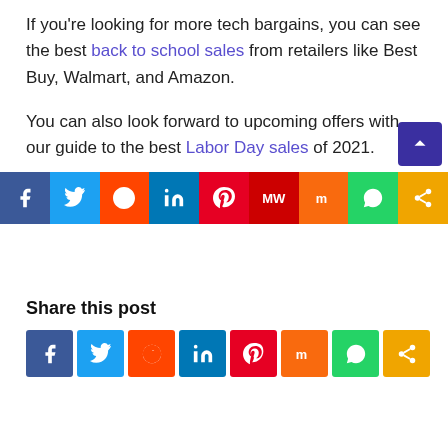If you're looking for more tech bargains, you can see the best back to school sales from retailers like Best Buy, Walmart, and Amazon.
You can also look forward to upcoming offers with our guide to the best Labor Day sales of 2021.
Source: TechRadar
Share this post
[Figure (infographic): Social share buttons row: Facebook, Twitter, Reddit, LinkedIn, Pinterest, Mix, WhatsApp, Share]
[Figure (infographic): Bottom bar social share buttons: Facebook, Twitter, Reddit, LinkedIn, Pinterest, MW, Mix, WhatsApp, Share]